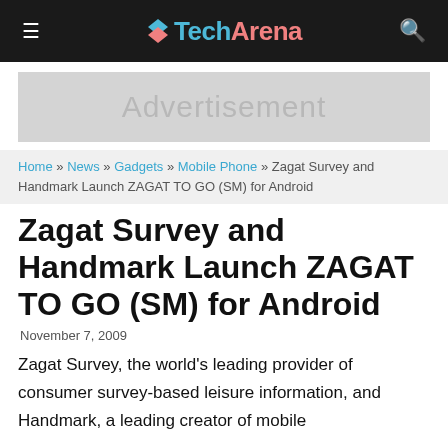TechArena
[Figure (other): Advertisement banner placeholder]
Home » News » Gadgets » Mobile Phone » Zagat Survey and Handmark Launch ZAGAT TO GO (SM) for Android
Zagat Survey and Handmark Launch ZAGAT TO GO (SM) for Android
November 7, 2009
Zagat Survey, the world's leading provider of consumer survey-based leisure information, and Handmark, a leading creator of mobile